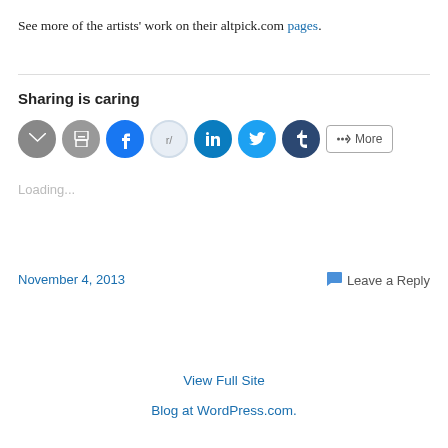See more of the artists' work on their altpick.com pages.
Sharing is caring
[Figure (other): Social sharing buttons: email, print, Facebook, Reddit, LinkedIn, Twitter, Tumblr, More]
Loading...
November 4, 2013
Leave a Reply
View Full Site
Blog at WordPress.com.